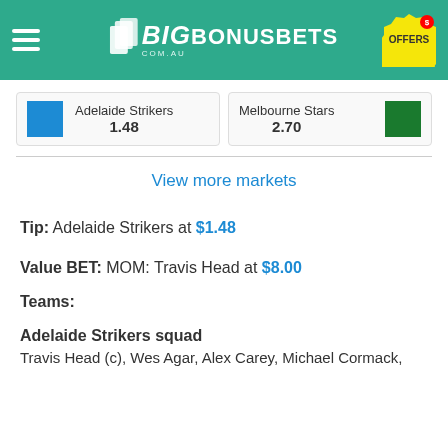BigBonusBets.com.au — OFFERS
| Team | Odds |
| --- | --- |
| Adelaide Strikers | 1.48 |
| Melbourne Stars | 2.70 |
View more markets
Tip: Adelaide Strikers at $1.48
Value BET: MOM: Travis Head at $8.00
Teams:
Adelaide Strikers squad
Travis Head (c), Wes Agar, Alex Carey, Michael Cormack,